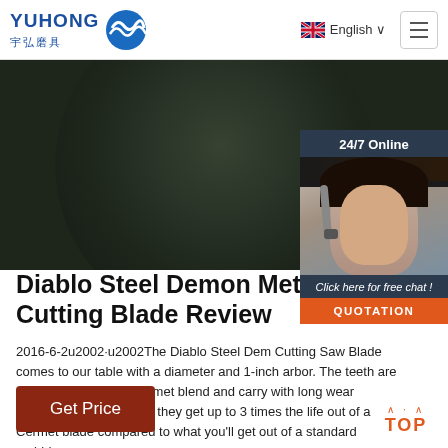YUHONG 宇弘磨具 | English | Menu
[Figure (photo): Dark circular abrasive cutting disc product image with dark green/black textured surface]
[Figure (photo): 24/7 Online chat widget with photo of female customer service representative with headset, and Click here for free chat and QUOTATION buttons]
Diablo Steel Demon Metal Cutting Blade Review
2016-6-2u2002·u2002The Diablo Steel Demon Cutting Saw Blade comes to our table with a diameter and 1-inch arbor. The teeth are made aforementioned Cermet blend and carry with long wear capability. Diablo claims they get up to 3 times the life out of a Cermet blade compared to what you'll get out of a standard carbide ...
Get Price
TOP